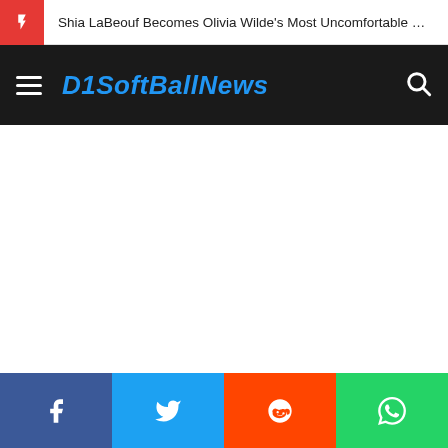Shia LaBeouf Becomes Olivia Wilde's Most Uncomfortable …
D1SoftBallNews
[Figure (screenshot): White empty content area]
Facebook | Twitter | Reddit | WhatsApp social share buttons